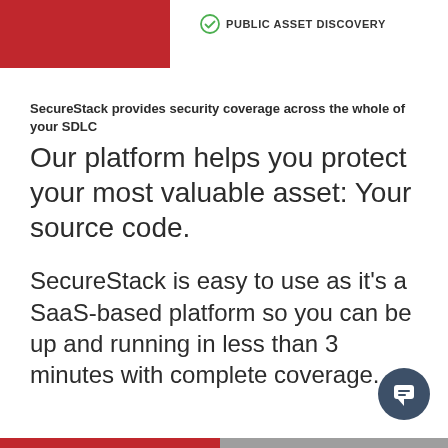[Figure (logo): Red rectangle logo block in top-left corner]
PUBLIC ASSET DISCOVERY
SecureStack provides security coverage across the whole of your SDLC
Our platform helps you protect your most valuable asset:  Your source code.
SecureStack is easy to use as it’s a SaaS-based platform so you can be up and running in less than 3 minutes with complete coverage.
[Figure (illustration): Dark blue circular chat/support button in bottom-right corner]